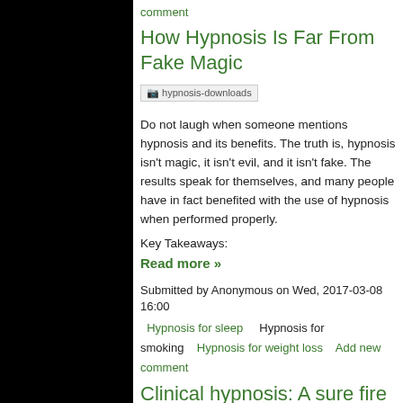comment
How Hypnosis Is Far From Fake Magic
[Figure (photo): hypnosis-downloads image placeholder]
Do not laugh when someone mentions hypnosis and its benefits. The truth is, hypnosis isn't magic, it isn't evil, and it isn't fake. The results speak for themselves, and many people have in fact benefited with the use of hypnosis when performed properly.
Key Takeaways:
Read more »
Submitted by Anonymous on Wed, 2017-03-08 16:00
Hypnosis for sleep   Hypnosis for smoking    Hypnosis for weight loss    Add new comment
Clinical hypnosis: A sure fire way to quit smoking for good